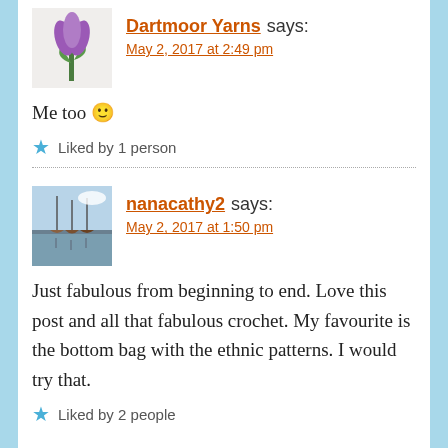[Figure (photo): Avatar of Dartmoor Yarns: tulip flower photo]
Dartmoor Yarns says:
May 2, 2017 at 2:49 pm
Me too 🙂
Liked by 1 person
nanacathy2 says:
May 2, 2017 at 1:50 pm
Just fabulous from beginning to end. Love this post and all that fabulous crochet. My favourite is the bottom bag with the ethnic patterns. I would try that.
Liked by 2 people